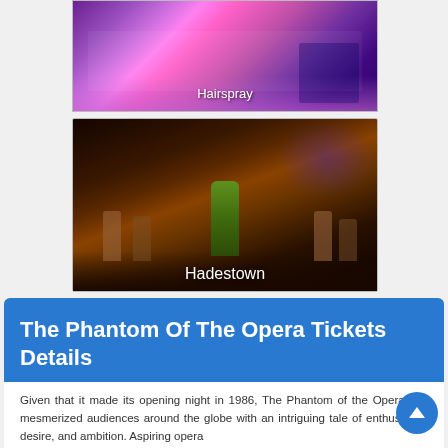[Figure (photo): Hairspray musical stage production photo showing colorful performers in bright costumes on a lit stage, with text label 'Hairspray' overlaid at bottom]
[Figure (photo): Hadestown musical stage production photo showing performers on a dark dramatic stage, center performer in green costume, with text label 'Hadestown' overlaid at bottom]
The Phantom Of The Opera Tickets Details
Given that it made its opening night in 1986, The Phantom of the Opera has mesmerized audiences around the globe with an intriguing tale of enthusiasm, desire, and ambition. Aspiring opera